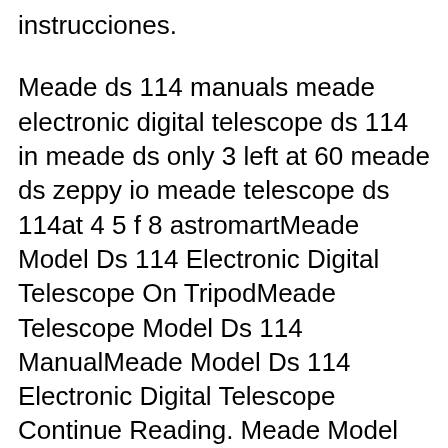instrucciones.
Meade ds 114 manuals meade electronic digital telescope ds 114 in meade ds only 3 left at 60 meade ds zeppy io meade telescope ds 114at 4 5 f 8 astromartMeade Model Ds 114 Electronic Digital Telescope On TripodMeade Telescope Model Ds 114 ManualMeade Model Ds 114 Electronic Digital Telescope Continue Reading. Meade Model 114eq Dh4 Manual. Meade DS 114 The telescope which I have continuously used since I was 12 is now the telescope that I read about in books such as The Backyard Astronomer's Guide as the very thing a beginner, or anyone for that matter